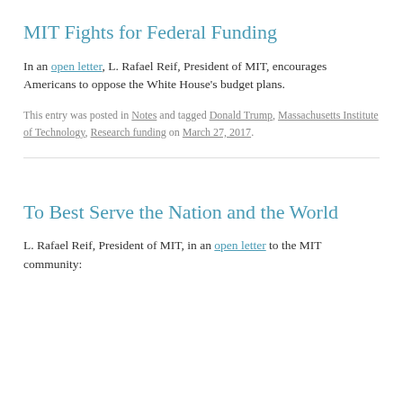MIT Fights for Federal Funding
In an open letter, L. Rafael Reif, President of MIT, encourages Americans to oppose the White House's budget plans.
This entry was posted in Notes and tagged Donald Trump, Massachusetts Institute of Technology, Research funding on March 27, 2017.
To Best Serve the Nation and the World
L. Rafael Reif, President of MIT, in an open letter to the MIT community: